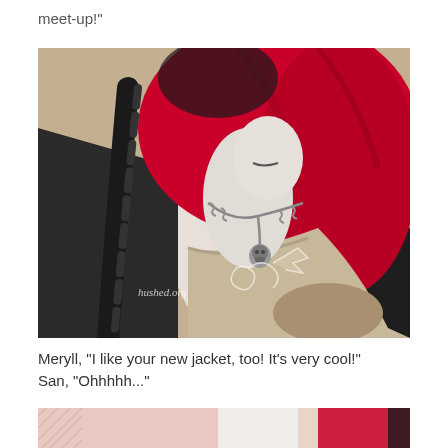meet-up!”
[Figure (photo): Close-up photo of a ball-jointed doll with red and black hair, wearing a black jacket and knit scarf, with a skull chain necklace. Watermark reads 'hushed.org' with a decorative logo.]
Meryll, “I like your new jacket, too! It’s very cool!”
San, “Ohh​hhh...”
[Figure (photo): Partial bottom photo showing dolls with pink and white knit fabric and red hair.]